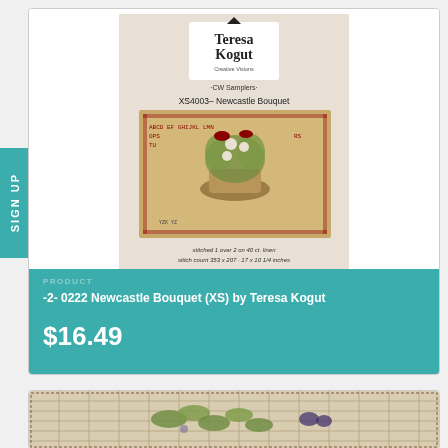[Figure (photo): Cross-stitch pattern product image for Newcastle Bouquet by Teresa Kogut (XS54003). Shows Teresa Kogut brand logo, CW Samplers label, pattern name, a cross-stitch sampler with birds and flowers in a basket with alphabet border, and website www.teresaKogut.com]
PRODUCT
-2- 0222 Newcastle Bouquet (XS) by Teresa Kogut
$16.49
SIGN UP
[Figure (photo): Cross-stitch or embroidery piece on plaid fabric showing floral/leaf design with butterfly]